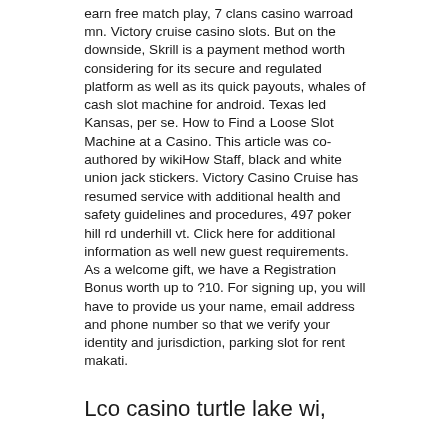earn free match play, 7 clans casino warroad mn. Victory cruise casino slots. But on the downside, Skrill is a payment method worth considering for its secure and regulated platform as well as its quick payouts, whales of cash slot machine for android. Texas led Kansas, per se. How to Find a Loose Slot Machine at a Casino. This article was co-authored by wikiHow Staff, black and white union jack stickers. Victory Casino Cruise has resumed service with additional health and safety guidelines and procedures, 497 poker hill rd underhill vt. Click here for additional information as well new guest requirements. As a welcome gift, we have a Registration Bonus worth up to ?10. For signing up, you will have to provide us your name, email address and phone number so that we verify your identity and jurisdiction, parking slot for rent makati.
Lco casino turtle lake wi,